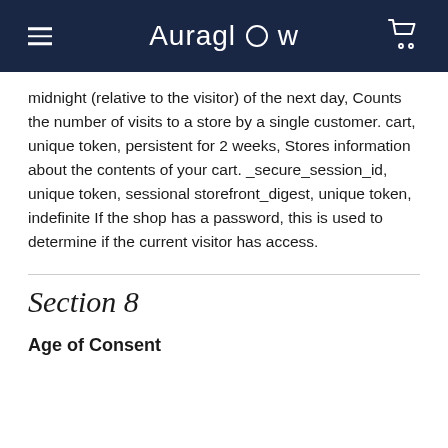Auraglow
midnight (relative to the visitor) of the next day, Counts the number of visits to a store by a single customer. cart, unique token, persistent for 2 weeks, Stores information about the contents of your cart. _secure_session_id, unique token, sessional storefront_digest, unique token, indefinite If the shop has a password, this is used to determine if the current visitor has access.
Section 8
Age of Consent